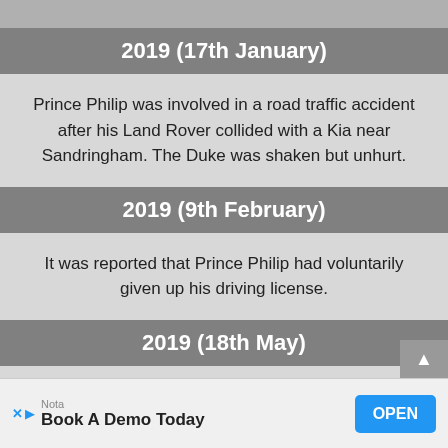2019 (17th January)
Prince Philip was involved in a road traffic accident after his Land Rover collided with a Kia near Sandringham. The Duke was shaken but unhurt.
2019 (9th February)
It was reported that Prince Philip had voluntarily given up his driving license.
2019 (18th May)
Prince Philip and Queen Elizabeth II attended the wedding of Lady Gabriella Windsor and Mr Thomas Kingston at St George's Chapel, Windsor.